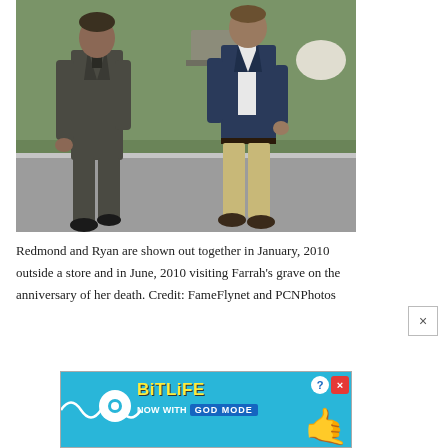[Figure (photo): Two men walking outdoors near grass and a paved path. Left man wears a dark charcoal suit. Right man wears a navy blazer with khaki pants and a white shirt.]
Redmond and Ryan are shown out together in January, 2010 outside a store and in June, 2010 visiting Farrah's grave on the anniversary of her death. Credit: FameFlynet and PCNPhotos
[Figure (screenshot): BitLife advertisement: NOW WITH GOD MODE. Blue background with yellow BitLife logo text, a pointing hand graphic, help and close buttons.]